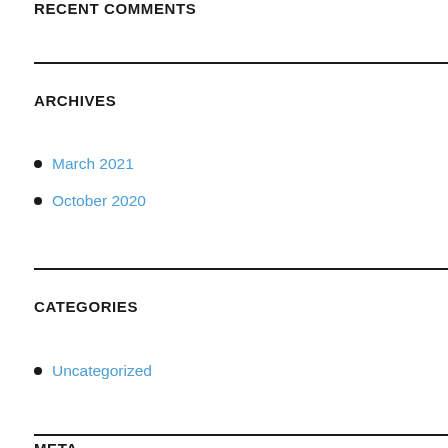RECENT COMMENTS
ARCHIVES
March 2021
October 2020
CATEGORIES
Uncategorized
META